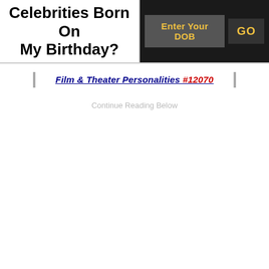Celebrities Born On My Birthday?
Enter Your DOB  GO
Film & Theater Personalities #12070
Continue Reading Below